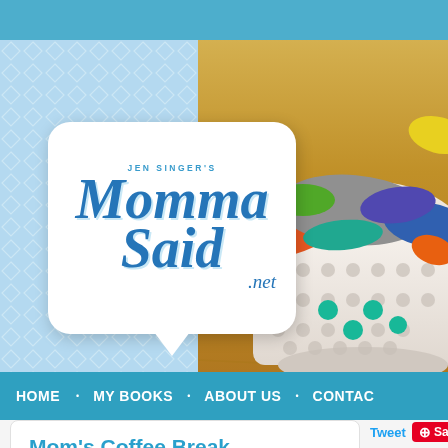[Figure (screenshot): Website header for Jen Singer's MommaSaid.net blog. Left side shows light blue diamond-pattern background. Right side shows photo of colorful laundry in a white basket on wood floor. Overlaid white speech-bubble logo reads 'JEN SINGER'S Momma Said .net' in blue script.]
HOME • MY BOOKS • ABOUT US • CONTAC
Mom's Coffee Break
Don't miss a thing!
Sign up for our newsletter:
Tweet Save
Bounce H